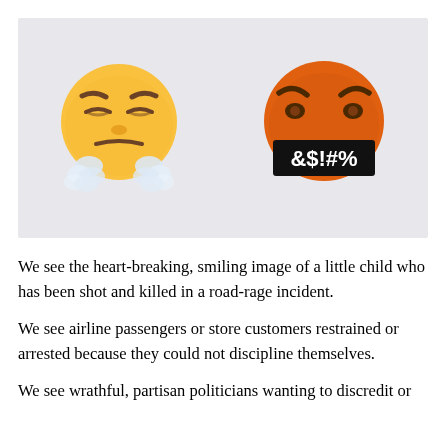[Figure (illustration): Two angry face emojis on a light gray background. Left emoji is yellow, angry/frustrated face snorting steam/clouds from its nose. Right emoji is orange/red, angry face with a black censorship bar reading '&$!#%' over its mouth.]
We see the heart-breaking, smiling image of a little child who has been shot and killed in a road-rage incident.
We see airline passengers or store customers restrained or arrested because they could not discipline themselves.
We see wrathful, partisan politicians wanting to discredit or